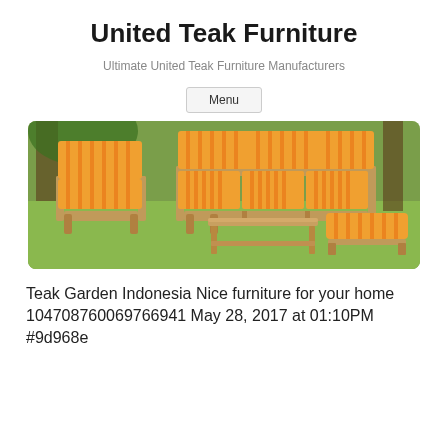United Teak Furniture
Ultimate United Teak Furniture Manufacturers
Menu
[Figure (photo): Outdoor teak furniture set on grass: armchair with orange striped cushions, three-seat sofa with orange striped cushions, a rectangular coffee table, and an ottoman with orange striped cushion. Teak wood construction, garden/outdoor setting with green grass and trees.]
Teak Garden Indonesia Nice furniture for your home 104708760069766941 May 28, 2017 at 01:10PM #9d968e